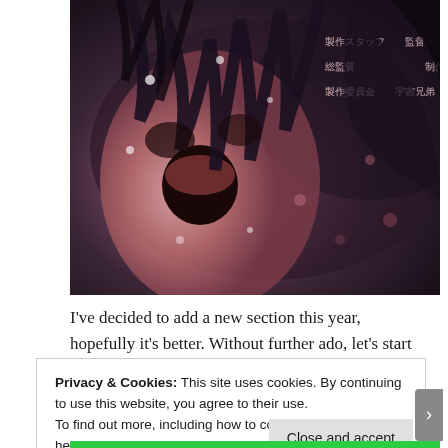[Figure (illustration): Dark manga/anime style illustration showing a character with wide open mouth screaming, dark hair, with swirling dark and pink/purple tones, Japanese text visible in upper right]
I've decided to add a new section this year, hopefully it's better. Without further ado, let's start off with...
Continue reading →
Privacy & Cookies: This site uses cookies. By continuing to use this website, you agree to their use.
To find out more, including how to control cookies, see here: Cookie Policy
Close and accept